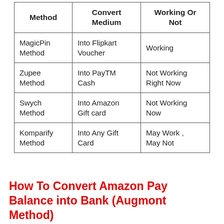| Method | Convert Medium | Working Or Not |
| --- | --- | --- |
| MagicPin Method | Into Flipkart Voucher | Working |
| Zupee Method | Into PayTM Cash | Not Working Right Now |
| Swych Method | Into Amazon Gift card | Not Working Now |
| Komparify Method | Into Any Gift Card | May Work , May Not |
How To Convert Amazon Pay Balance into Bank (Augmont Method)